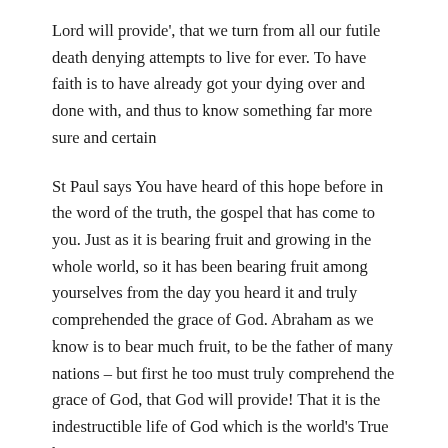Lord will provide', that we turn from all our futile death denying attempts to live for ever. To have faith is to have already got your dying over and done with, and thus to know something far more sure and certain
St Paul says You have heard of this hope before in the word of the truth, the gospel that has come to you. Just as it is bearing fruit and growing in the whole world, so it has been bearing fruit among yourselves from the day you heard it and truly comprehended the grace of God. Abraham as we know is to bear much fruit, to be the father of many nations – but first he too must truly comprehend the grace of God, that God will provide! That it is the indestructible life of God which is the world's True hope.
A few years ago I went with some of my fellow ordinands to visit a mosque in the east end of London. We sat and listened politely to the Imam, who lectured us all on the superiority of Islam over Christianity. Finally he became a little more hospitable and referred to